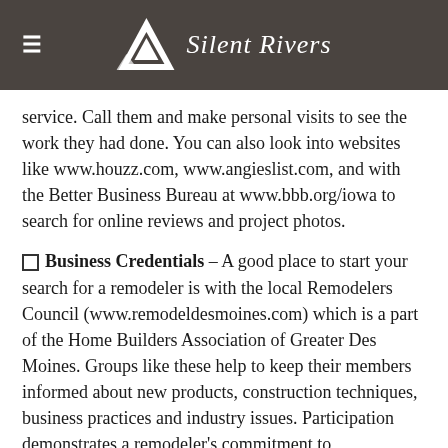≡  Silent Rivers
service. Call them and make personal visits to see the work they had done. You can also look into websites like www.houzz.com, www.angieslist.com, and with the Better Business Bureau at www.bbb.org/iowa to search for online reviews and project photos.
Business Credentials – A good place to start your search for a remodeler is with the local Remodelers Council (www.remodeldesmoines.com) which is a part of the Home Builders Association of Greater Des Moines. Groups like these help to keep their members informed about new products, construction techniques, business practices and industry issues. Participation demonstrates a remodeler's commitment to professionalism and to the remodeling industry. Many trade groups also confer professional credentials, such as Certified Graduate Remodeler (CGR), to those who meet their requirements, which is a positive